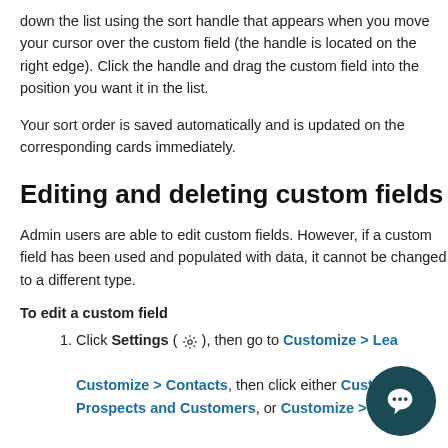down the list using the sort handle that appears when you move your cursor over the custom field (the handle is located on the right edge). Click the handle and drag the custom field into the position you want it in the list.
Your sort order is saved automatically and is updated on the corresponding cards immediately.
Editing and deleting custom fields
Admin users are able to edit custom fields. However, if a custom field has been used and populated with data, it cannot be changed to a different type.
To edit a custom field
Click Settings (⚙), then go to Customize > Leads, Customize > Contacts, then click either Customize > Prospects and Customers, or Customize > Deals